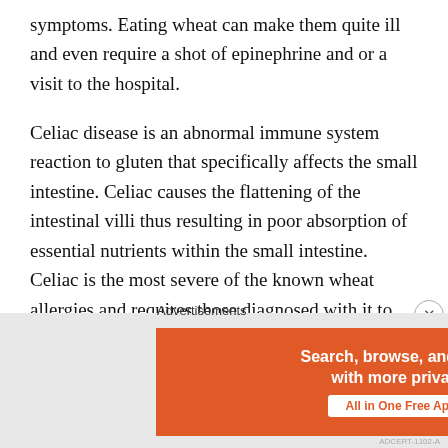symptoms. Eating wheat can make them quite ill and even require a shot of epinephrine and or a visit to the hospital.
Celiac disease is an abnormal immune system reaction to gluten that specifically affects the small intestine. Celiac causes the flattening of the intestinal villi thus resulting in poor absorption of essential nutrients within the small intestine. Celiac is the most severe of the known wheat allergies and requires those diagnosed with it to avoid all wheat products including rye, barley, spelt, farro and anything with the least bit of wheat in it. It is amazing what products can have minute amounts of wheat in them; soy sauce, malt vinegar and many salad dressings. Of course
[Figure (other): DuckDuckGo advertisement banner: 'Search, browse, and email with more privacy. All in One Free App' on orange background with DuckDuckGo logo on dark background]